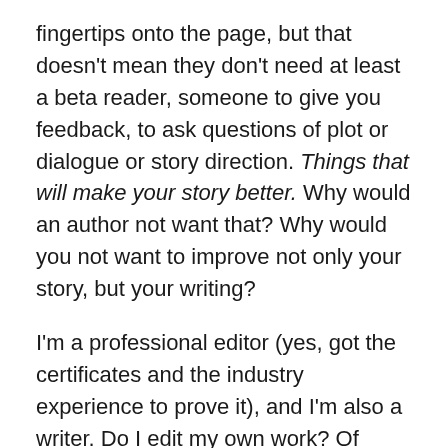fingertips onto the page, but that doesn't mean they don't need at least a beta reader, someone to give you feedback, to ask questions of plot or dialogue or story direction. Things that will make your story better. Why would an author not want that? Why would you not want to improve not only your story, but your writing?
I'm a professional editor (yes, got the certificates and the industry experience to prove it), and I'm also a writer. Do I edit my own work? Of course I do. Do I send it to others to beta read? Damn straight. Do I have someone else edit it? Hell yes I do. Why? Because I'm too close to the story to see any issues it may have, because I want to know whether it makes sense, because maybe a question or note will make the story stronger, clearer, more kick-arse. Because I want MY BEST WORK out in the world, not just